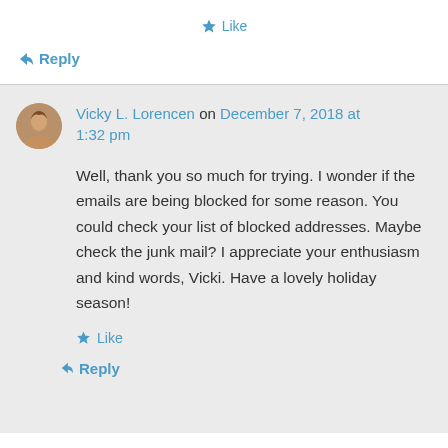★ Like
↳ Reply
Vicky L. Lorencen on December 7, 2018 at 1:32 pm
Well, thank you so much for trying. I wonder if the emails are being blocked for some reason. You could check your list of blocked addresses. Maybe check the junk mail? I appreciate your enthusiasm and kind words, Vicki. Have a lovely holiday season!
★ Like
↳ Reply